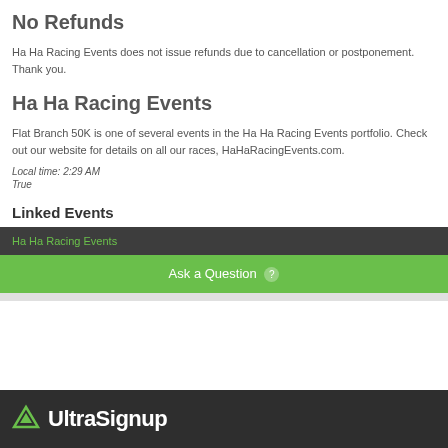No Refunds
Ha Ha Racing Events does not issue refunds due to cancellation or postponement. Thank you.
Ha Ha Racing Events
Flat Branch 50K is one of several events in the Ha Ha Racing Events portfolio. Check out our website for details on all our races, HaHaRacingEvents.com.
Local time: 2:29 AM
True
Linked Events
Ha Ha Racing Events
Ask a Question
UltraSignup